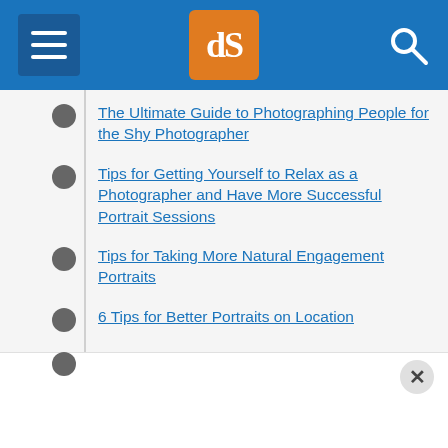[Figure (screenshot): dPS website header with hamburger menu, orange dPS logo badge, and search icon on blue background]
The Ultimate Guide to Photographing People for the Shy Photographer
Tips for Getting Yourself to Relax as a Photographer and Have More Successful Portrait Sessions
Tips for Taking More Natural Engagement Portraits
6 Tips for Better Portraits on Location
7 Ways to Take Advantage of Autumn in Your Portrait Photography